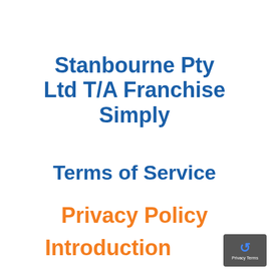Stanbourne Pty Ltd T/A Franchise Simply
Terms of Service
Privacy Policy
Introduction